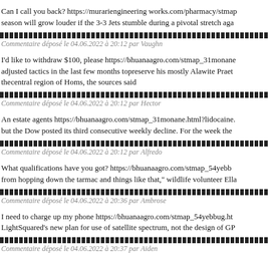Can I call you back? https://murariengineering works.com/pharmacy/stmap season will grow louder if the 3-3 Jets stumble during a pivotal stretch aga
Commentaire déposé le 04.06.2022 à 20:12 par Vaughn
I'd like to withdraw $100, please https://bhuanaagro.com/stmap_31monane adjusted tactics in the last few months topreserve his mostly Alawite Praet thecentral region of Homs, the sources said
Commentaire déposé le 04.06.2022 à 20:12 par Hector
An estate agents https://bhuanaagro.com/stmap_31monane.html?lidocaine. but the Dow posted its third consecutive weekly decline. For the week the
Commentaire déposé le 04.06.2022 à 20:12 par Alfredo
What qualifications have you got? https://bhuanaagro.com/stmap_54yebb from hopping down the tarmac and things like that," wildlife volunteer Ella
Commentaire déposé le 04.06.2022 à 20:36 par Ambrose
I need to charge up my phone https://bhuanaagro.com/stmap_54yebbug.ht LightSquared's new plan for use of satellite spectrum, not the design of GP
Commentaire déposé le 04.06.2022 à 20:37 par Aiden